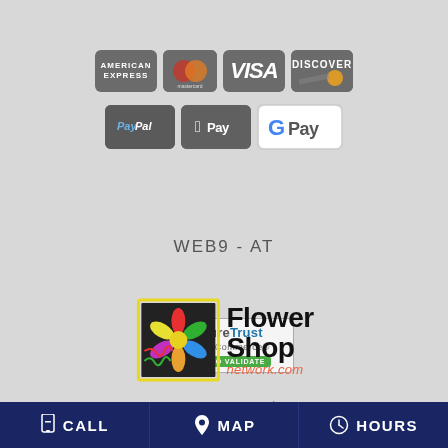[Figure (logo): Payment method icons: American Express, Mastercard, Visa, Discover, PayPal, Apple Pay, Google Pay]
[Figure (logo): SecureTrust Trusted Commerce badge with CLICK TO VALIDATE button]
WEB9-AT
[Figure (logo): Flower Shop Network logo with colorful flower graphic and text 'Flower Shop network.com']
BURLINGTON, NJ FUNERAL HOMES | BURLINGTON, NJ HOSPITALS | BURLINGTON, NJ WEDDING FLOWER VENDORS
CALL   MAP   HOURS